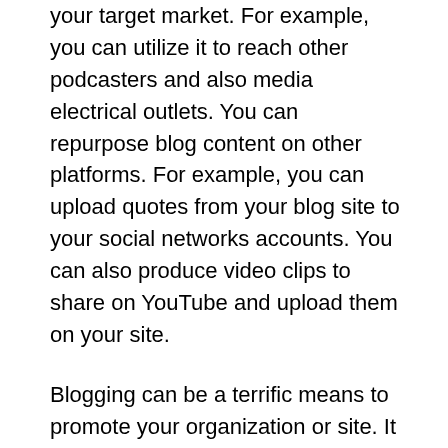your target market. For example, you can utilize it to reach other podcasters and also media electrical outlets. You can repurpose blog content on other platforms. For example, you can upload quotes from your blog site to your social networks accounts. You can also produce video clips to share on YouTube and upload them on your site.
Blogging can be a terrific means to promote your organization or site. It can additionally be utilized to build an individual brand name as well as supplement your existing revenue. A successful blog owner can earn money from their blog. For instance, publishing expert Jane Friedman has actually allowed herself to publish in